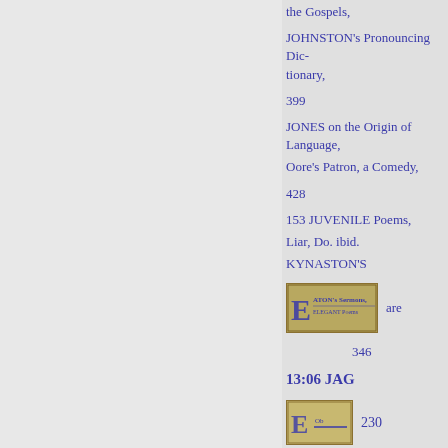the Gospels,
JOHNSTON's Pronouncing Dictionary,
399
JONES on the Origin of Language,
Oore's Patron, a Comedy,
428
153 JUVENILE Poems,
Liar, Do. ibid.
KYNASTON'S
[Figure (other): Decorative stamp image showing Aton's Sermons and Elegant Poems text]
are
346
13:06 JAG
[Figure (other): Small decorative stamp or seal image]
230
« Previous